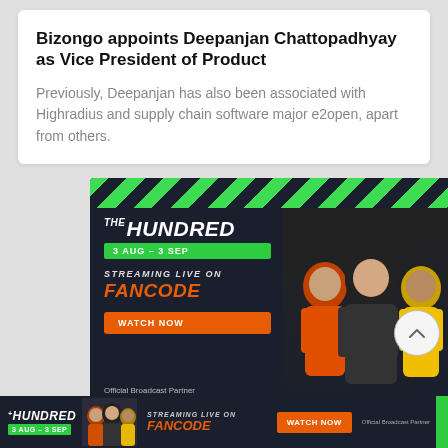Bizongo appoints Deepanjan Chattopadhyay as Vice President of Product
Previously, Deepanjan has also been associated with Highradius and supply chain software major e2open, apart from others.
[Figure (illustration): Advertisement for The Hundred cricket tournament streaming live on FanCode, 3 Aug - 3 Sep, featuring three cricket players posing in team jerseys. Contains a Watch Now button and 'Official Broadcast Partner' label.]
[Figure (illustration): Bottom banner advertisement for The Hundred streaming live on FanCode, showing players and Watch Now button.]